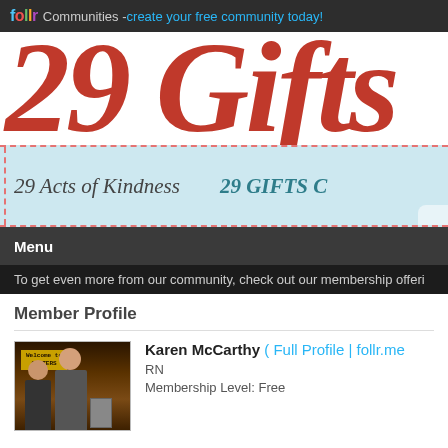follr Communities - create your free community today!
[Figure (screenshot): 29 Gifts community banner with large red italic text '29 Gifts' and a light blue ribbon area showing '29 Acts of Kindness' and '29 GIFTS C...']
Menu
To get even more from our community, check out our membership offeri...
Member Profile
[Figure (photo): Photo of two people standing in front of a bar called Cooters]
Karen McCarthy ( Full Profile | follr.me... )
RN
Membership Level: Free